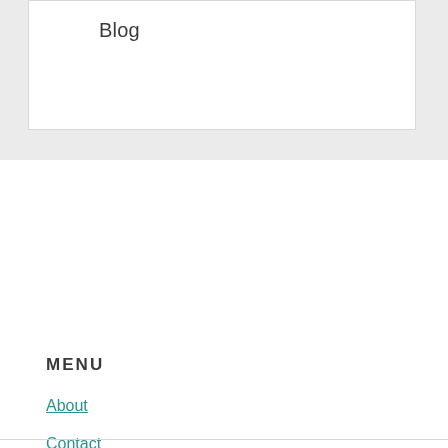Blog
MENU
About
Contact
Privacy Policy